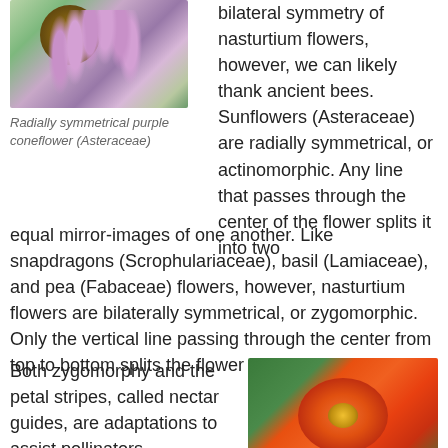[Figure (photo): Photograph of radially symmetrical purple coneflowers (Asteraceae) with pink-purple petals and brown centers against green foliage]
Radially symmetrical purple coneflower (Asteraceae)
bilateral symmetry of nasturtium flowers, however, we can likely thank ancient bees. Sunflowers (Asteraceae) are radially symmetrical, or actinomorphic. Any line that passes through the center of the flower splits it into two equal mirror-images of one another. Like snapdragons (Scrophulariaceae), basil (Lamiaceae), and pea (Fabaceae) flowers, however, nasturtium flowers are bilaterally symmetrical, or zygomorphic. Only the vertical line passing through the center from top to bottom splits the flower into equal halves.
Both zygomorphy and the petal stripes, called nectar guides, are adaptations to assist pollinators. Zygomorphy
[Figure (photo): Photograph of an orange nasturtium flower with darker vein stripes on petals against green leaves background]